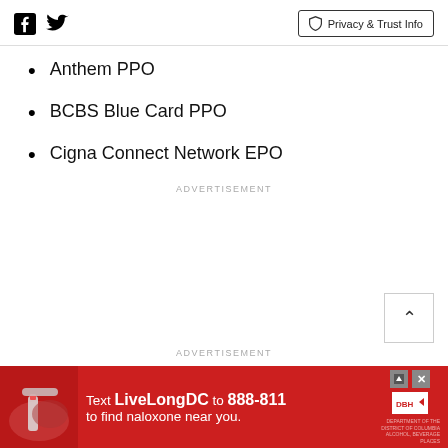[Facebook icon] [Twitter icon] | Privacy & Trust Info
Anthem PPO
BCBS Blue Card PPO
Cigna Connect Network EPO
ADVERTISEMENT
ADVERTISEMENT
[Figure (infographic): Red advertisement banner: Text LiveLongDC to 888-811 to find naloxone near you. DBH logo visible. Shows hands holding naloxone device.]